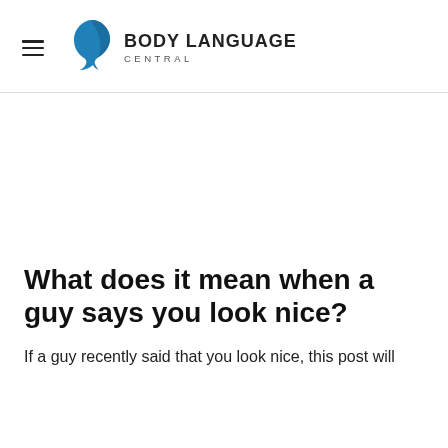BODY LANGUAGE CENTRAL
What does it mean when a guy says you look nice?
If a guy recently said that you look nice, this post will